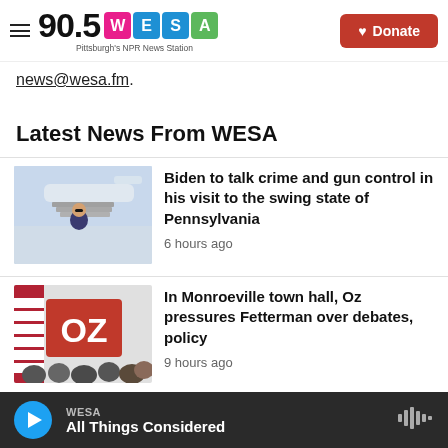90.5 WESA — Pittsburgh's NPR News Station | Donate
news@wesa.fm.
Latest News From WESA
[Figure (photo): Photo of Biden descending airplane stairs]
Biden to talk crime and gun control in his visit to the swing state of Pennsylvania
6 hours ago
[Figure (photo): Photo of Oz campaign rally with OZ sign and crowd]
In Monroeville town hall, Oz pressures Fetterman over debates, policy
9 hours ago
WESA — All Things Considered